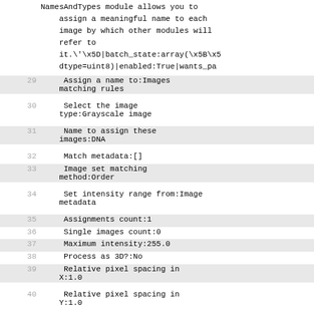NamesAndTypes module allows you to assign a meaningful name to each image by which other modules will refer to it.\'\x5D|batch_state:array(\x5B\x5dtype=uint8)|enabled:True|wants_pa
29      Assign a name to:Images matching rules
30      Select the image type:Grayscale image
31      Name to assign these images:DNA
32      Match metadata:[]
33      Image set matching method:Order
34      Set intensity range from:Image metadata
35      Assignments count:1
36      Single images count:0
37      Maximum intensity:255.0
38      Process as 3D?:No
39      Relative pixel spacing in X:1.0
40      Relative pixel spacing in Y:1.0
41      Relative pixel spacing in Z:1.0
42      Select the rule criteria:and (file does startwith "im")
43      ...